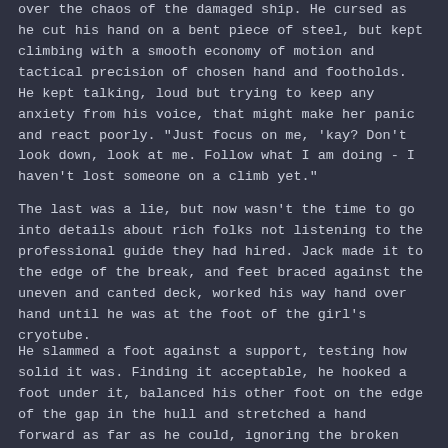over the chaos of the damaged ship. He cursed as he cut his hand on a bent piece of steel, but kept climbing with a smooth economy of motion and tactical precision of chosen hand and footholds. He kept talking, loud but trying to keep any anxiety from his voice, that might make her panic and react poorly. "Just focus on me, 'kay? Don't look down, look at me. Follow what I am doing - I haven't lost someone on a climb yet."
The last was a lie, but now wasn't the time to go into details about rich folks not listening to the professional guide they had hired. Jack made it to the edge of the break, and feet braced against the uneven and canted deck, worked his way hand over hand until he was at the foot of the girl's cryotube.
He slammed a foot against a support, testing how solid it was. Finding it acceptable, he hooked a foot under it, balanced his other foot on the edge of the gap in the hull and stretched a hand forward as far as he could, ignoring the broken cryotubes and broken bodies dozens of meters below - there wasn't anything he could do for them, but he could do something for the